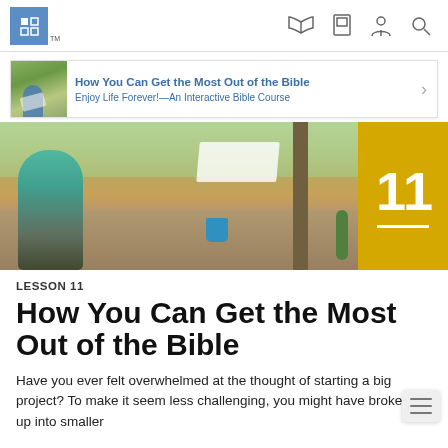JW.ORG header with logo and navigation icons
[Figure (screenshot): Promotional banner strip: thumbnail of person reading outdoors, title 'How You Can Get the Most Out of the Bible', subtitle 'Enjoy Life Forever!—An Interactive Bible Course', with right arrow]
[Figure (photo): Hero image: young woman in teal shirt sitting outdoors reading a book, with laundry and buckets in background; gold box on right with large white number 11 and white underline]
LESSON 11
How You Can Get the Most Out of the Bible
Have you ever felt overwhelmed at the thought of starting a big project? To make it seem less challenging, you might have broken it up into smaller